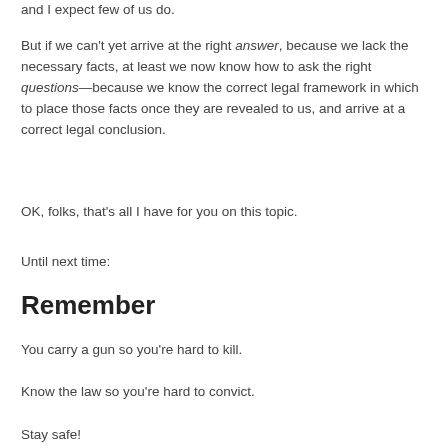and I expect few of us do.
But if we can't yet arrive at the right answer, because we lack the necessary facts, at least we now know how to ask the right questions—because we know the correct legal framework in which to place those facts once they are revealed to us, and arrive at a correct legal conclusion.
OK, folks, that's all I have for you on this topic.
Until next time:
Remember
You carry a gun so you're hard to kill.
Know the law so you're hard to convict.
Stay safe!